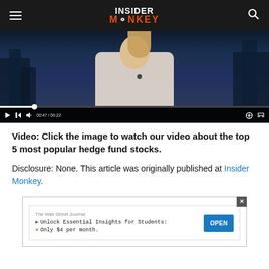INSIDER MONKEY
[Figure (screenshot): Video player showing a woman presenter with city background. Controls show 00:47 / 06:22 timestamp.]
Video: Click the image to watch our video about the top 5 most popular hedge fund stocks.
Disclosure: None. This article was originally published at Insider Monkey.
[Figure (screenshot): Advertisement from The Wall Street Journal: 'Unlock Essential Insights for Students: Only $4 per month.' with an OPEN button.]